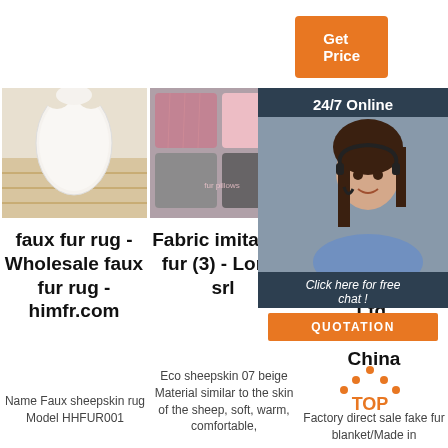[Figure (other): Orange 'Get Price' button in top right corner]
[Figure (photo): Faux sheepskin white rug on wooden floor]
[Figure (photo): Colorful faux fur fabric imitation pillows in pink, grey and white]
[Figure (photo): Room scene with furniture - sheepskin/fur product]
[Figure (other): 24/7 Online chat panel overlay with agent photo, 'Click here for free chat!' and QUOTATION button]
faux fur rug - Wholesale faux fur rug - himfr.com
Name Faux sheepskin rug Model HHFUR001
Fabric imitation fur (3) - Lorca srl
Eco sheepskin 07 beige Material similar to the skin of the sheep, soft, warm, comfortable,
Sheepskin Ev... Gro... Ltd. fabric from China
Factory direct sale fake fur blanket/Made in